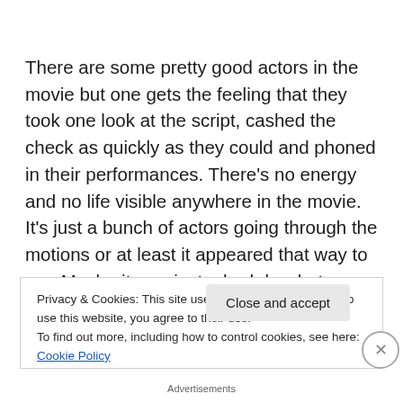There are some pretty good actors in the movie but one gets the feeling that they took one look at the script, cashed the check as quickly as they could and phoned in their performances. There's no energy and no life visible anywhere in the movie. It's just a bunch of actors going through the motions or at least it appeared that way to me. Maybe it was just a bad day, but even Da Queen, normally much more generous to actors than I am, was begging me
Privacy & Cookies: This site uses cookies. By continuing to use this website, you agree to their use.
To find out more, including how to control cookies, see here: Cookie Policy
Close and accept
Advertisements